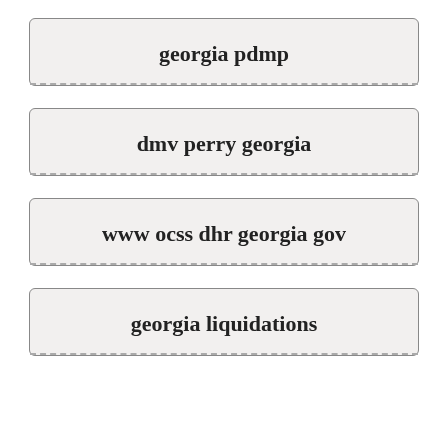georgia pdmp
dmv perry georgia
www ocss dhr georgia gov
georgia liquidations